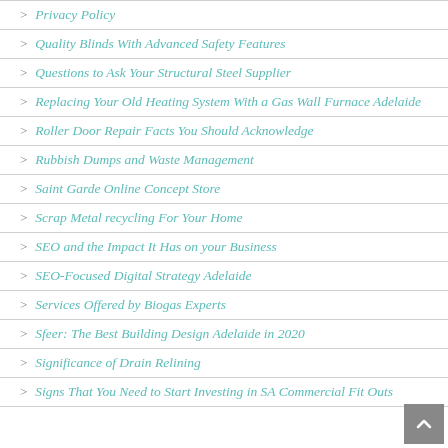Privacy Policy
Quality Blinds With Advanced Safety Features
Questions to Ask Your Structural Steel Supplier
Replacing Your Old Heating System With a Gas Wall Furnace Adelaide
Roller Door Repair Facts You Should Acknowledge
Rubbish Dumps and Waste Management
Saint Garde Online Concept Store
Scrap Metal recycling For Your Home
SEO and the Impact It Has on your Business
SEO-Focused Digital Strategy Adelaide
Services Offered by Biogas Experts
Sfeer: The Best Building Design Adelaide in 2020
Significance of Drain Relining
Signs That You Need to Start Investing in SA Commercial Fit Outs